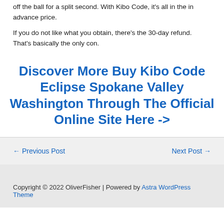off the ball for a split second. With Kibo Code, it's all in the in advance price.
If you do not like what you obtain, there's the 30-day refund. That's basically the only con.
Discover More Buy Kibo Code Eclipse Spokane Valley Washington Through The Official Online Site Here ->
← Previous Post
Next Post →
Copyright © 2022 OliverFisher | Powered by Astra WordPress Theme